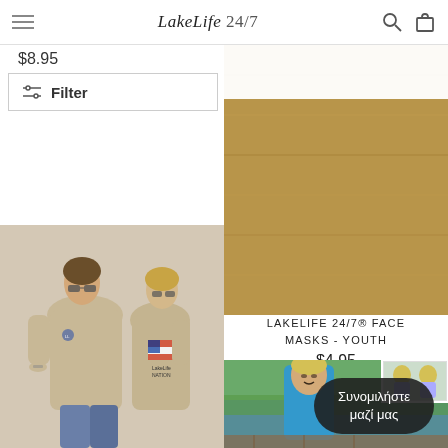LakeLife 24/7
$8.95
Filter
Ημερομηνία, νεότερη
[Figure (photo): Product photo of face masks on wooden surface background]
LAKELIFE 24/7® FACE MASKS - YOUTH
$4.95
[Figure (photo): Two people wearing tan/khaki t-shirts with LakeLife Nation logo on back]
[Figure (photo): Boy wearing blue LakeLife long sleeve shirt near lake, with small inset photo of children]
Συνομιλήστε μαζί μας